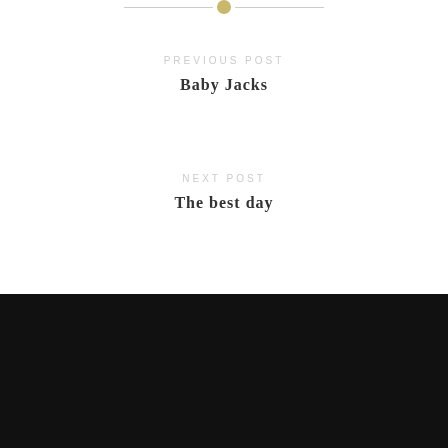[Figure (other): Horizontal divider line with a gold circle in the center]
PREVIOUS POST
Baby Jacks
NEXT POST
The best day
8 Comments
ADD YOURS